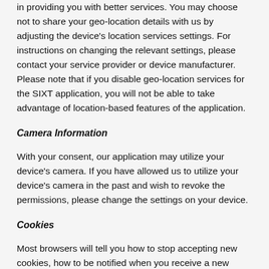in providing you with better services. You may choose not to share your geo-location details with us by adjusting the device's location services settings. For instructions on changing the relevant settings, please contact your service provider or device manufacturer. Please note that if you disable geo-location services for the SIXT application, you will not be able to take advantage of location-based features of the application.
Camera Information
With your consent, our application may utilize your device's camera. If you have allowed us to utilize your device's camera in the past and wish to revoke the permissions, please change the settings on your device.
Cookies
Most browsers will tell you how to stop accepting new cookies, how to be notified when you receive a new cookie, and how to disable existing cookies. Please note, however, that without cookies you may not be able to take full advantage of all of our sites' features. In addition, disabling cookies may cancel opt-outs that rely on cookies, such as web analytics